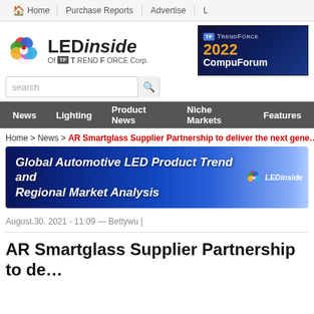Home | Purchase Reports | Advertise
[Figure (logo): LEDinside of TrendForce Corp. logo]
[Figure (illustration): TrendForce 2022 CompuForum advertisement banner]
search
News | Lighting | Product News | Niche Markets | Features
Home > News > AR Smartglass Supplier Partnership to deliver the next gene...
[Figure (illustration): Global Automotive LED Product Trend and Regional Market Analysis banner ad with LEDinside logo]
August.30, 2021 - 11:09 — Bettywu |
AR Smartglass Supplier Partnership to de...